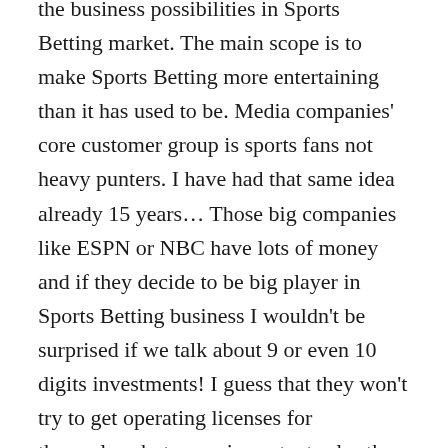the business possibilities in Sports Betting market. The main scope is to make Sports Betting more entertaining than it has used to be. Media companies' core customer group is sports fans not heavy punters. I have had that same idea already 15 years… Those big companies like ESPN or NBC have lots of money and if they decide to be big player in Sports Betting business I wouldn't be surprised if we talk about 9 or even 10 digits investments! I guess that they won't try to get operating licenses for themselves but some important roles they will have for sure.
There are also lots of investors who are looking for new business opportunities from gambling business. I'm not expert on that area but I have understood that there would be some billions of dollars available investments.